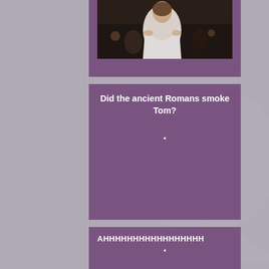[Figure (photo): A photograph showing a person in a white dress at what appears to be an event or gathering]
Did the ancient Romans smoke Tom?
•
AHHHHHHHHHHHHHHHHH
•